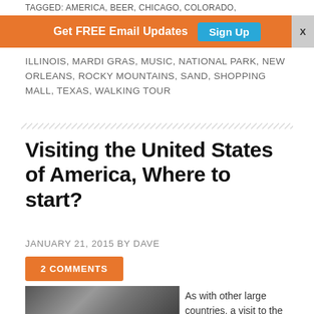TAGGED: AMERICA, BEER, CHICAGO, COLORADO,
[Figure (other): Orange promotional banner with text 'Get FREE Email Updates' and a cyan 'Sign Up' button, plus an X close button on the right.]
ILLINOIS, MARDI GRAS, MUSIC, NATIONAL PARK, NEW ORLEANS, ROCKY MOUNTAINS, SAND, SHOPPING MALL, TEXAS, WALKING TOUR
Visiting the United States of America, Where to start?
JANUARY 21, 2015 BY DAVE
2 COMMENTS
[Figure (photo): Partial photo of a building with large columns and what appears to be an American flag.]
As with other large countries, a visit to the